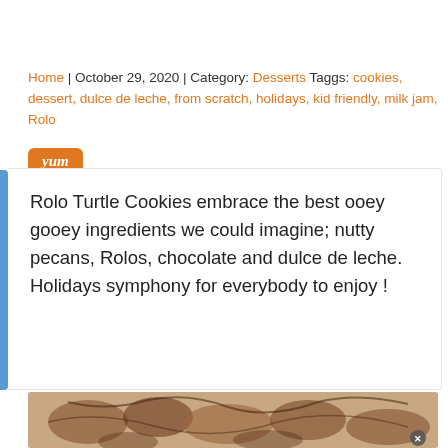Home | October 29, 2020 | Category: Desserts Taggs: cookies, dessert, dulce de leche, from scratch, holidays, kid friendly, milk jam, Rolo
[Figure (logo): Yum button - orange rounded rectangle with 'yum' text in white italic]
Rolo Turtle Cookies embrace the best ooey gooey ingredients we could imagine; nutty pecans, Rolos, chocolate and dulce de leche. Holidays symphony for everybody to enjoy !
[Figure (photo): Close-up photo of Rolo Turtle Cookies with chocolate drizzle, pecans and caramel on a light surface]